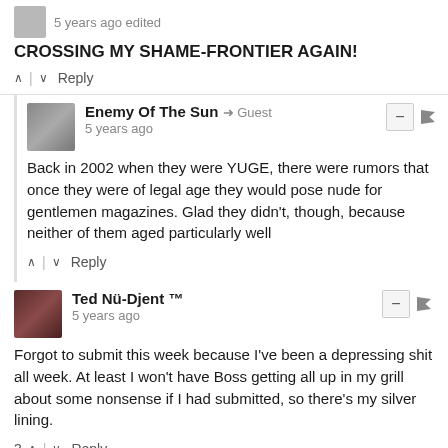[Figure (photo): Small grey avatar thumbnail, top left]
5 years ago edited
CROSSING MY SHAME-FRONTIER AGAIN!
^ | v  Reply
[Figure (photo): Avatar image for Enemy Of The Sun]
Enemy Of The Sun → Guest
5 years ago
Back in 2002 when they were YUGE, there were rumors that once they were of legal age they would pose nude for gentlemen magazines. Glad they didn't, though, because neither of them aged particularly well
^ | v  Reply
[Figure (photo): Avatar image for Ted Nü-Djent ™]
Ted Nü-Djent ™
5 years ago
Forgot to submit this week because I've been a depressing shit all week. At least I won't have Boss getting all up in my grill about some nonsense if I had submitted, so there's my silver lining.
3 ^ | v  Reply
[Figure (photo): Avatar image for Count_Breznak]
Count_Breznak → Ted Nü-Djent ™
5 years ago